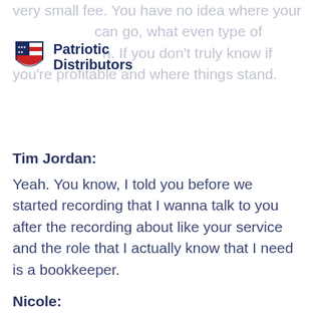very small fee. You have no idea where your ... can go, what even type of ... n. If you don't truly know if you're profitable and where things stand.
[Figure (logo): Patriotic Distributors logo with red, white and blue shield and stars]
Tim Jordan:
Yeah. You know, I told you before we started recording that I wanna talk to you after the recording about like your service and the role that I actually know that I need is a bookkeeper.
Nicole:
Yeah.
Tim Jordan:
So maybe I've beat myself up so much and learned some things in the past few years to